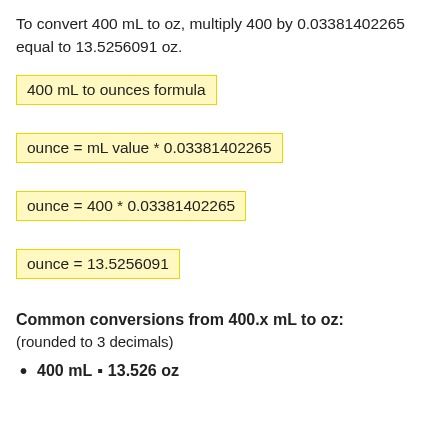To convert 400 mL to oz, multiply 400 by 0.03381402265 equal to 13.5256091 oz.
400 mL to ounces formula
Common conversions from 400.x mL to oz:
(rounded to 3 decimals)
400 mL = 13.526 oz